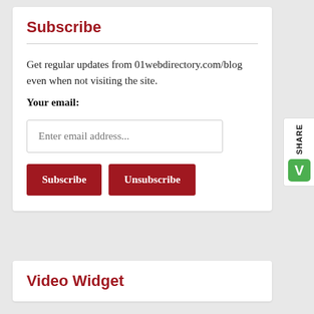Subscribe
Get regular updates from 01webdirectory.com/blog even when not visiting the site.
Your email:
[Figure (screenshot): Email input field with placeholder text 'Enter email address...' and two dark red buttons labeled 'Subscribe' and 'Unsubscribe']
Video Widget